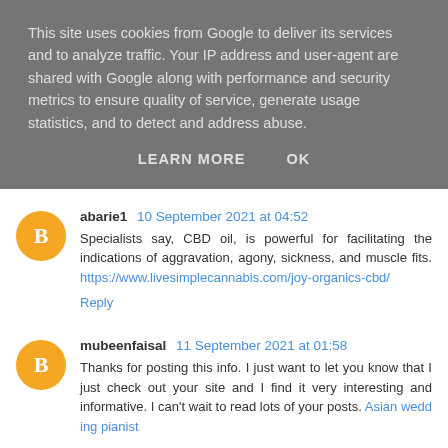This site uses cookies from Google to deliver its services and to analyze traffic. Your IP address and user-agent are shared with Google along with performance and security metrics to ensure quality of service, generate usage statistics, and to detect and address abuse.
LEARN MORE    OK
abarie1  10 September 2021 at 04:52
Specialists say, CBD oil, is powerful for facilitating the indications of aggravation, agony, sickness, and muscle fits. https://www.livesimplecannabis.com/joy-organics-cbd/
Reply
mubeenfaisal  11 September 2021 at 01:58
Thanks for posting this info. I just want to let you know that I just check out your site and I find it very interesting and informative. I can't wait to read lots of your posts. Asian wedding pianist